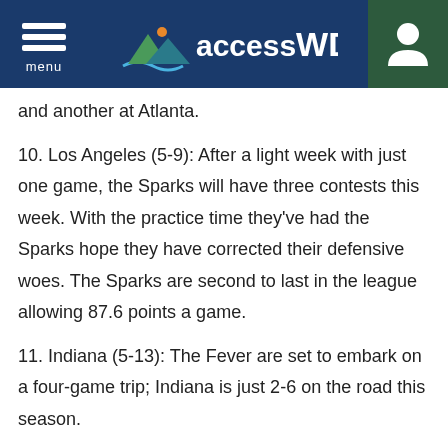accessWDUN
and another at Atlanta.
10. Los Angeles (5-9): After a light week with just one game, the Sparks will have three contests this week. With the practice time they've had the Sparks hope they have corrected their defensive woes. The Sparks are second to last in the league allowing 87.6 points a game.
11. Indiana (5-13): The Fever are set to embark on a four-game trip; Indiana is just 2-6 on the road this season.